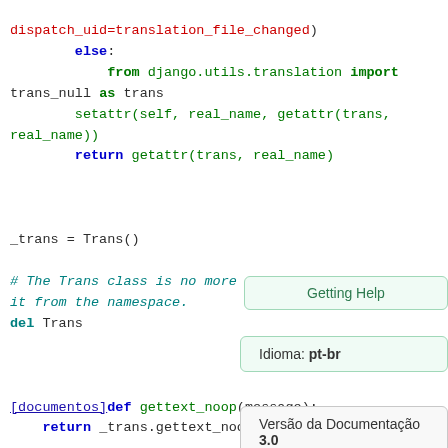Python code snippet showing Django translation utilities including else/from/import/return/del keywords, _trans = Trans(), comment about Trans class, and function definitions for gettext_noop and ugettext_noop
[Figure (screenshot): Getting Help tooltip panel with 'Getting Help' label, 'Idioma: pt-br' label, and 'Versão da Documentação 3.0' label]